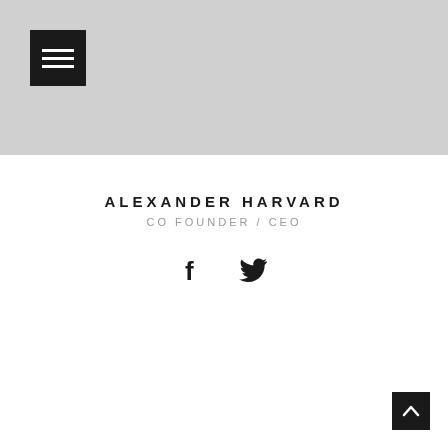[Figure (screenshot): Gray hero banner at the top of the page with a black hamburger menu icon button in the top-left corner]
ALEXANDER HARVARD
CO FOUNDER / CEO
[Figure (illustration): Social media icons: Facebook (f) and Twitter (bird) icons centered below the title]
[Figure (illustration): Back to top button: black square with upward chevron arrow in the bottom-right corner]